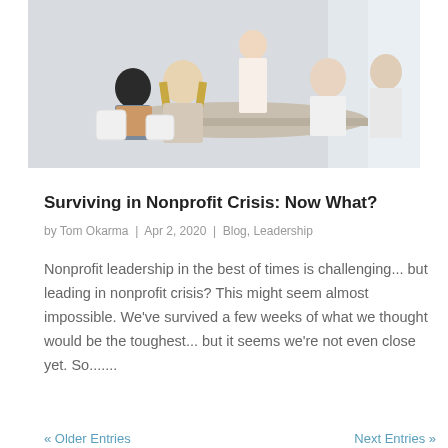[Figure (photo): Business meeting scene: group of professionals seated around a table with a standing presenter, office/conference room setting]
Surviving in Nonprofit Crisis: Now What?
by Tom Okarma | Apr 2, 2020 | Blog, Leadership
Nonprofit leadership in the best of times is challenging... but leading in nonprofit crisis? This might seem almost impossible. We've survived a few weeks of what we thought would be the toughest... but it seems we're not even close yet. So.......
« Older Entries   Next Entries »